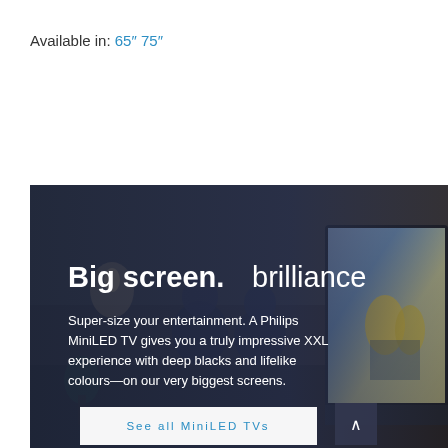Available in: 65″ 75″
[Figure (photo): Philips MiniLED TV promotional hero banner showing a couple watching a large TV in a living room, with cyclists on the screen. Overlay text reads 'Big screen. brilliance' with product description and a 'See all MiniLED TVs' button.]